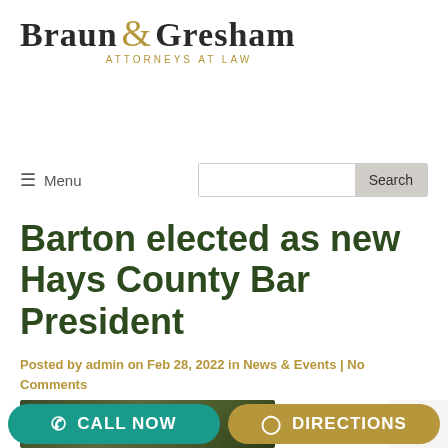[Figure (logo): Braun & Gresham Attorneys at Law logo with serif text and gold ampersand]
≡ Menu | Search
Barton elected as new Hays County Bar President
Posted by admin on Feb 28, 2022 in News & Events | No Comments
[Figure (photo): Partial photo of outdoor scene, partially visible at bottom]
CALL NOW
DIRECTIONS